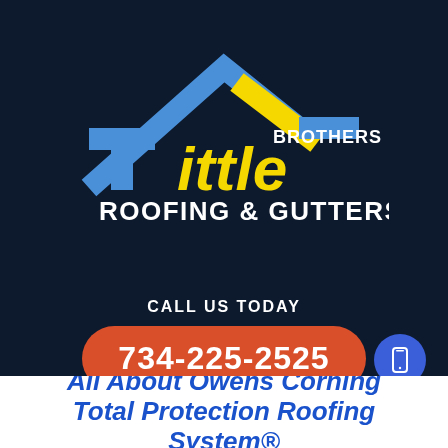[Figure (logo): Tittle Brothers Roofing & Gutters logo — house roof outline in blue and yellow, with 'Tittle' in yellow/white lettering, 'BROTHERS' in white above, and 'ROOFING & GUTTERS' in bold white below]
CALL US TODAY
734-225-2525
All About Owens Corning Total Protection Roofing System®